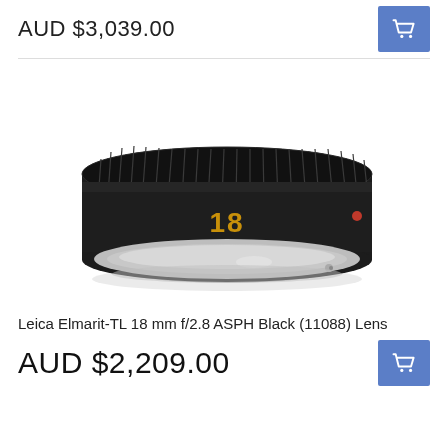AUD $3,039.00
[Figure (photo): Leica Elmarit-TL 18mm f/2.8 ASPH Black lens, shown from the front at a slight angle. The lens is compact and flat (pancake style) with a black anodized barrel, silver metal mount ring, and a gold "18" engraved label on the front. A small red dot is visible on the right side of the barrel.]
Leica Elmarit-TL 18 mm f/2.8 ASPH Black (11088) Lens
AUD $2,209.00